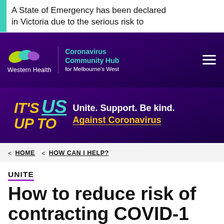A State of Emergency has been declared in Victoria due to the serious risk to
[Figure (logo): Western Health Coronavirus Community Hub for Melbourne's West logo with navigation header on dark purple background]
[Figure (infographic): IT'S UP TO US – Unite. Support. Be kind. Against Coronavirus campaign banner on dark purple background]
< HOME  < HOW CAN I HELP?
UNITE
How to reduce risk of contracting COVID-19